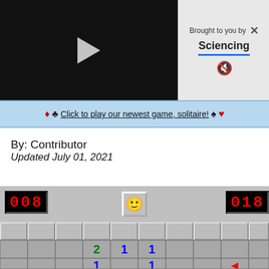[Figure (screenshot): Video player with black background and white play button triangle]
Brought to you by Sciencing
♦ ♣ Click to play our newest game, solitaire! ♠ ♥
By: Contributor
Updated July 01, 2021
[Figure (screenshot): Minesweeper game screenshot showing counter 008 on left, smiley face button in center, counter 018 on right, and a grid of minesweeper cells with some revealed showing numbers 2, 1, 1 in green, blue, blue and partial row below with 1, 1 and red partial number]